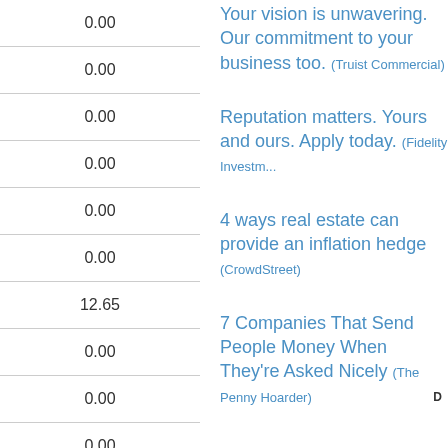| Value |
| --- |
| 0.00 |
| 0.00 |
| 0.00 |
| 0.00 |
| 0.00 |
| 0.00 |
| 12.65 |
| 0.00 |
| 0.00 |
| 0.00 |
| 0.00 |
| 0.00 |
| 0.00 |
Your vision is unwavering. Our commitment to your business too. (Truist Commercial)
Reputation matters. Yours and ours. Apply today. (Fidelity Investments)
4 ways real estate can provide an inflation hedge (CrowdStreet)
7 Companies That Send People Money When They're Asked Nicely (The Penny Hoarder)